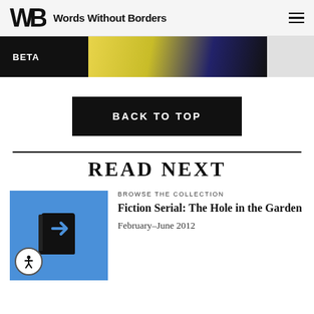Words Without Borders
[Figure (screenshot): BETA badge over partial image strip with yellow and dark blue colors]
BACK TO TOP
READ NEXT
[Figure (illustration): Blue square with book/share icon and accessibility icon]
BROWSE THE COLLECTION
Fiction Serial: The Hole in the Garden
February–June 2012